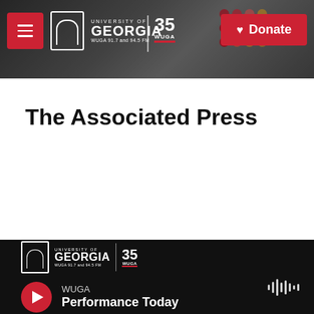[Figure (screenshot): WUGA University of Georgia radio station website header with radio board background image, hamburger menu button, UGA/WUGA logos, 35 WUGA anniversary badge, and red Donate button]
The Associated Press
[Figure (screenshot): WUGA radio station audio player footer bar with UGA logo, 35 WUGA badge, red play button, station name WUGA, show name Performance Today, and audio waveform icon]